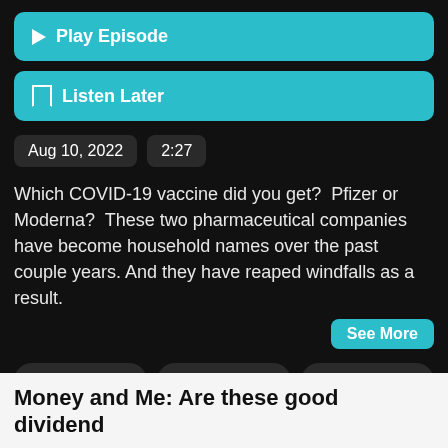▶ Play Episode
☐ Listen Later
Aug 10, 2022   2:27
Which COVID-19 vaccine did you get?  Pfizer or Moderna?  These two pharmaceutical companies have become household names over the past couple years. And they have reaped windfalls as a result.
See More
# market
# vaccines
# maker
# pfizer
# moderna
# profits
Money and Me: Are these good dividend